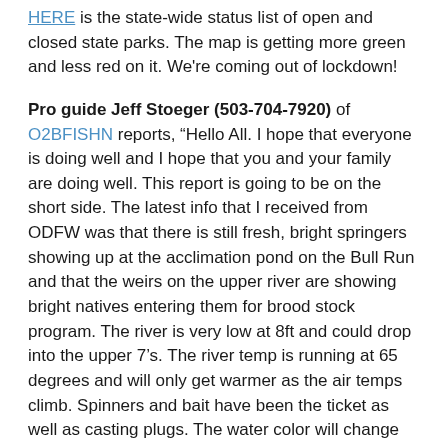HERE is the state-wide status list of open and closed state parks. The map is getting more green and less red on it. We're coming out of lockdown!
Pro guide Jeff Stoeger (503-704-7920) of O2BFISHN reports, “Hello All. I hope that everyone is doing well and I hope that you and your family are doing well. This report is going to be on the short side. The latest info that I received from ODFW was that there is still fresh, bright springers showing up at the acclimation pond on the Bull Run and that the weirs on the upper river are showing bright natives entering them for brood stock program. The river is very low at 8ft and could drop into the upper 7’s. The river temp is running at 65 degrees and will only get warmer as the air temps climb. Spinners and bait have been the ticket as well as casting plugs. The water color will change as the day goes on. Make sure that if you decide to get out and fish, take some water with you so you can stay hydrated. Also when your out there if you see any garbage left by fisher people please take the time to pick it up for it will help with our cause to get access to private property. So wishing you all the best of luck and tight lines.”